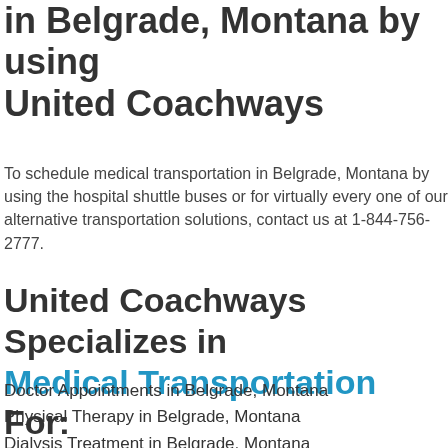in Belgrade, Montana by using United Coachways
To schedule medical transportation in Belgrade, Montana by using the hospital shuttle buses or for virtually every one of our alternative transportation solutions, contact us at 1-844-756-2777.
United Coachways Specializes in Medical Transportation For:
Doctor Appointments in Belgrade, Montana
Physical Therapy in Belgrade, Montana
Dialysis Treatment in Belgrade, Montana
Outpatient Surgery in Belgrade, Montana
Treatment Centers in Belgrade, Montana